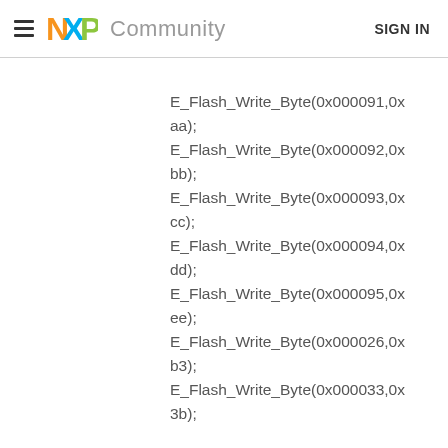NXP Community  SIGN IN
E_Flash_Write_Byte(0x000091,0xaa);
E_Flash_Write_Byte(0x000092,0xbb);
E_Flash_Write_Byte(0x000093,0xcc);
E_Flash_Write_Byte(0x000094,0xdd);
E_Flash_Write_Byte(0x000095,0xee);
E_Flash_Write_Byte(0x000026,0xb3);
E_Flash_Write_Byte(0x000033,0x3b);